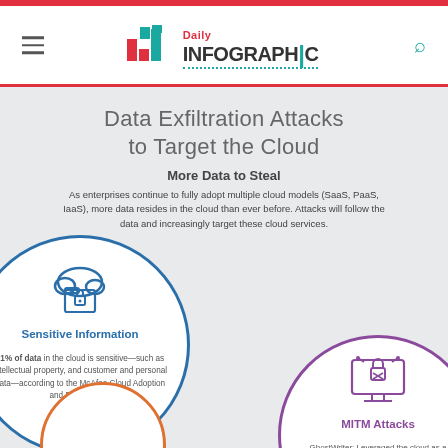Daily Infographic
Data Exfiltration Attacks to Target the Cloud
More Data to Steal
As enterprises continue to fully adopt multiple cloud models (SaaS, PaaS, IaaS), more data resides in the cloud than ever before. Attacks will follow the data and increasingly target these cloud services.
[Figure (infographic): Circle icon with cloud and padlock representing Sensitive Information]
Sensitive Information
21% of data in the cloud is sensitive—such as intellectual property, and customer and personal data—according to the McAfee Cloud Adoption and Risk Report.
[Figure (infographic): Circle icon with hacked computer representing MITM Attacks]
MITM Attacks
GhostWriter: Leveraged the cloud as a springboard for cloud-native man-in-the-middle attacks to launch cryptojacking or